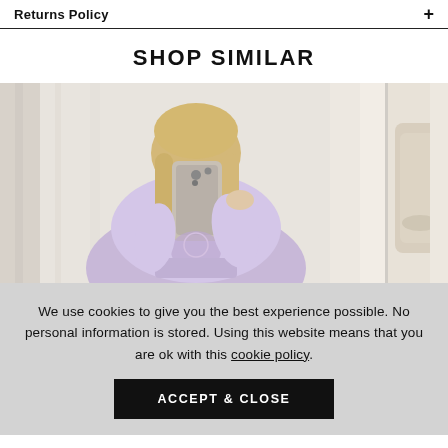Returns Policy
SHOP SIMILAR
[Figure (photo): Two product photos side by side: main photo shows a blonde woman in a lavender hoodie taking a mirror selfie with a phone; partial second photo on the right shows a beige/neutral garment.]
We use cookies to give you the best experience possible. No personal information is stored. Using this website means that you are ok with this cookie policy.
ACCEPT & CLOSE